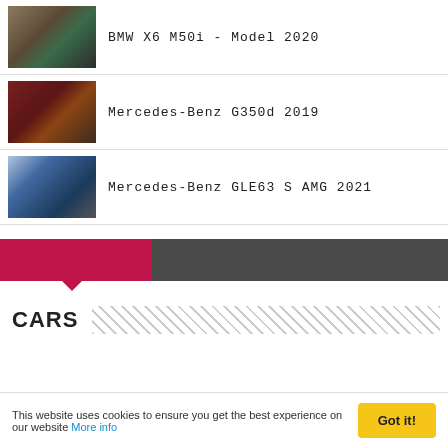BMW X6 M50i - Model 2020
Mercedes-Benz G350d 2019
Mercedes-Benz GLE63 S AMG 2021
[Figure (other): Progress bar with crimson fill (~34%) and dark gray remainder, with a downward pointer below the fill section]
CARS
This website uses cookies to ensure you get the best experience on our website More info  Got it!